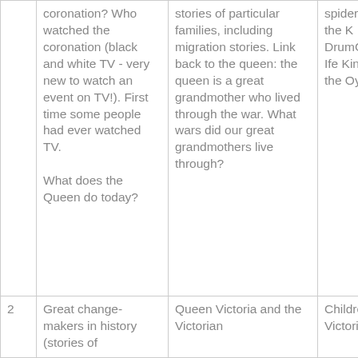|  | Column 1 | Column 2 | Column 3 |
| --- | --- | --- | --- |
|  | coronation? Who watched the coronation (black and white TV - very new to watch an event on TV!). First time some people had ever watched TV.
What does the Queen do today? | stories of particular families, including migration stories. Link back to the queen: the queen is a great grandmother who lived through the war. What wars did our great grandmothers live through? | spiderEfri and the K DrumCrea lle-Ife KingdomK the Oyo E |
| 2 | Great change-makers in history (stories of | Queen Victoria and the Victorian | Children's Victorian |